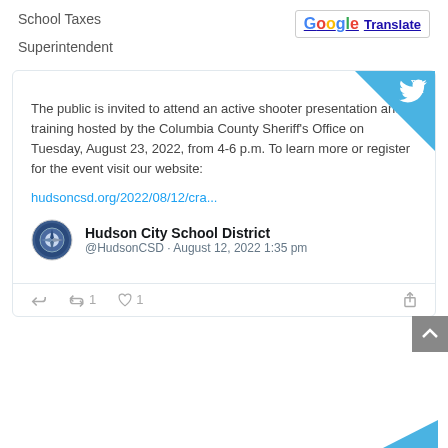School Taxes
Superintendent
[Figure (screenshot): Twitter/social media embed button with Google Translate button in top right]
The public is invited to attend an active shooter presentation and training hosted by the Columbia County Sheriff's Office on Tuesday, August 23, 2022, from 4-6 p.m. To learn more or register for the event visit our website:
hudsoncsd.org/2022/08/12/cra...
Hudson City School District @HudsonCSD • August 12, 2022 1:35 pm